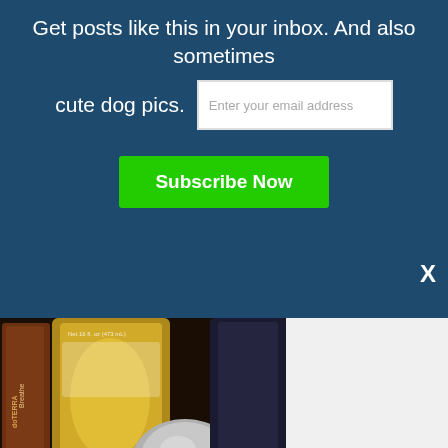Get posts like this in your inbox. And also sometimes cute dog pics.
[Figure (screenshot): Email subscription banner with dark blue background, text input field, Subscribe Now green button, and close X button]
[Figure (photo): Close-up photo of essential oil bottles including doTERRA Breathe and other bottles with golden/amber liquid]
https://www.instagram.com/bodyworkbuddy/
I've been a massage therapist for a loooong time. I've had lots of massage friends/colleagues get heavily involved in essential oils over the years, and while I've always enjoyed oils, I just never really got into them. Or at least, not at the level my friends did. (You know, basically carrying around a case of them everywhere they